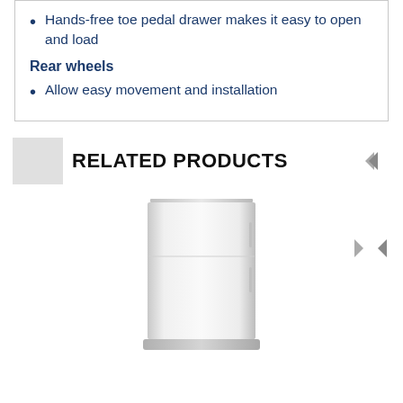Hands-free toe pedal drawer makes it easy to open and load
Rear wheels
Allow easy movement and installation
RELATED PRODUCTS
[Figure (photo): A white refrigerator appliance shown from the front against a white background]